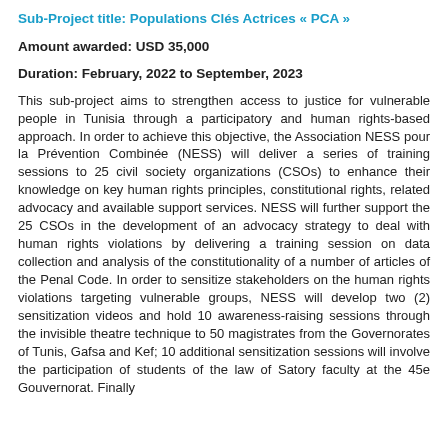Sub-Project title: Populations Clés Actrices « PCA »
Amount awarded: USD 35,000
Duration: February, 2022 to September, 2023
This sub-project aims to strengthen access to justice for vulnerable people in Tunisia through a participatory and human rights-based approach. In order to achieve this objective, the Association NESS pour la Prévention Combinée (NESS) will deliver a series of training sessions to 25 civil society organizations (CSOs) to enhance their knowledge on key human rights principles, constitutional rights, related advocacy and available support services. NESS will further support the 25 CSOs in the development of an advocacy strategy to deal with human rights violations by delivering a training session on data collection and analysis of the constitutionality of a number of articles of the Penal Code. In order to sensitize stakeholders on the human rights violations targeting vulnerable groups, NESS will develop two (2) sensitization videos and hold 10 awareness-raising sessions through the invisible theatre technique to 50 magistrates from the Governorates of Tunis, Gafsa and Kef; 10 additional sensitization sessions will involve the participation of students of the law of Satory faculty at the 45e Gouvernorat. Finally